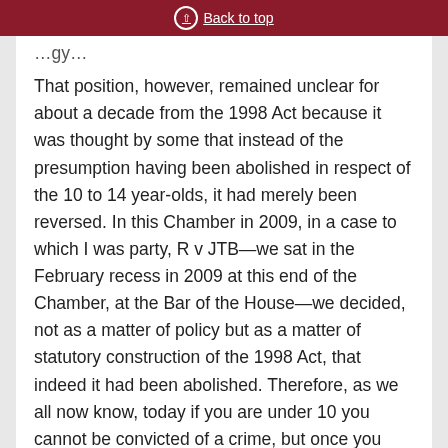Back to top
That position, however, remained unclear for about a decade from the 1998 Act because it was thought by some that instead of the presumption having been abolished in respect of the 10 to 14 year-olds, it had merely been reversed. In this Chamber in 2009, in a case to which I was party, R v JTB—we sat in the February recess in 2009 at this end of the Chamber, at the Bar of the House—we decided, not as a matter of policy but as a matter of statutory construction of the 1998 Act, that indeed it had been abolished. Therefore, as we all now know, today if you are under 10 you cannot be convicted of a crime, but once you have reached the age of 10 then your particular age, whether you are 10, 11, 12, 13 or whatever, as a matter of strict law becomes entirely